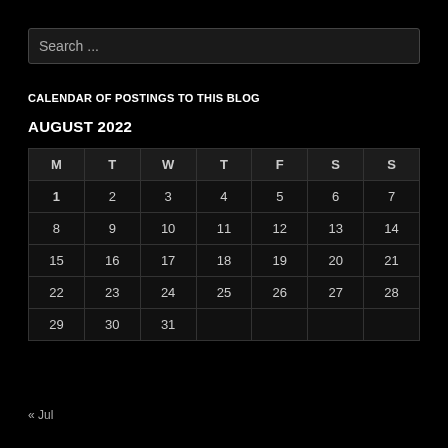Search ...
CALENDAR OF POSTINGS TO THIS BLOG
AUGUST 2022
| M | T | W | T | F | S | S |
| --- | --- | --- | --- | --- | --- | --- |
| 1 | 2 | 3 | 4 | 5 | 6 | 7 |
| 8 | 9 | 10 | 11 | 12 | 13 | 14 |
| 15 | 16 | 17 | 18 | 19 | 20 | 21 |
| 22 | 23 | 24 | 25 | 26 | 27 | 28 |
| 29 | 30 | 31 |  |  |  |  |
« Jul